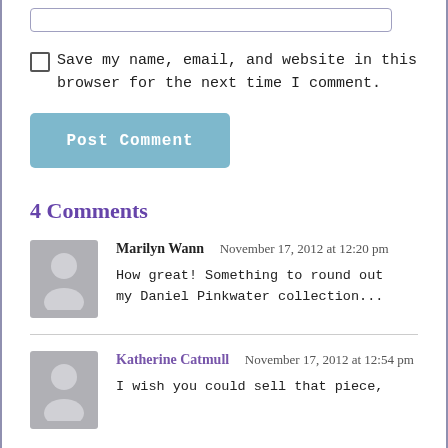[Figure (other): A text input box (form field) at the top of the page]
Save my name, email, and website in this browser for the next time I comment.
[Figure (other): Post Comment button, blue/teal colored]
4 Comments
[Figure (other): Avatar silhouette for Marilyn Wann]
Marilyn Wann  November 17, 2012 at 12:20 pm
How great! Something to round out my Daniel Pinkwater collection...
[Figure (other): Avatar silhouette for Katherine Catmull]
Katherine Catmull  November 17, 2012 at 12:54 pm
I wish you could sell that piece,